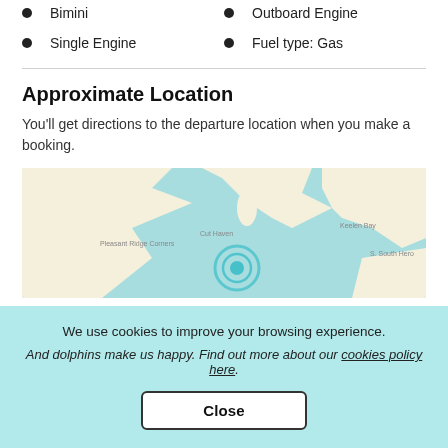Bimini
Outboard Engine
Single Engine
Fuel type: Gas
Approximate Location
You'll get directions to the departure location when you make a booking.
[Figure (map): Map showing approximate boat location near Cut Haven and Pleasant Ridge Corners, with water areas in light blue/teal and land in cream. A circular ripple marker indicates the approximate departure location on the water.]
We use cookies to improve your browsing experience.
And dolphins make us happy. Find out more about our cookies policy here.
Close